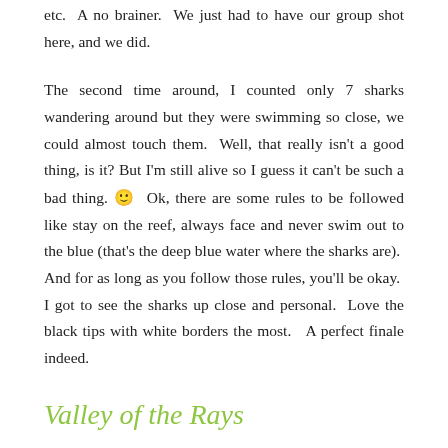Wrasse, etc. A no brainer. We just had to have our group shot here, and we did.
The second time around, I counted only 7 sharks wandering around but they were swimming so close, we could almost touch them. Well, that really isn't a good thing, is it? But I'm still alive so I guess it can't be such a bad thing. 🙂 Ok, there are some rules to be followed like stay on the reef, always face and never swim out to the blue (that's the deep blue water where the sharks are). And for as long as you follow those rules, you'll be okay. I got to see the sharks up close and personal. Love the black tips with white borders the most. A perfect finale indeed.
Valley of the Rays